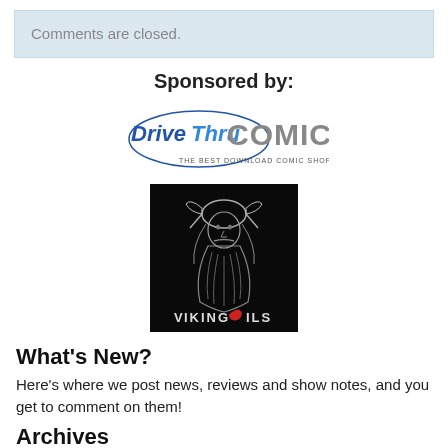Comments are closed.
Sponsored by:
[Figure (logo): DriveThru Comics logo - blue and grey stylized text with tagline 'The Best Download Comic Shop']
[Figure (logo): Viking Oils logo - black background with illustrated viking face and long beard, text 'VIKING OILS' at bottom]
What's New?
Here's where we post news, reviews and show notes, and you get to comment on them!
Archives
November 2017